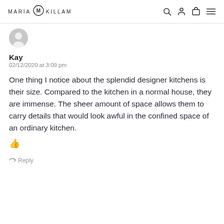MARIA KILLAM
[Figure (illustration): User avatar circle with person silhouette icon in gray]
Kay
02/12/2020 at 3:09 pm
One thing I notice about the splendid designer kitchens is their size. Compared to the kitchen in a normal house, they are immense. The sheer amount of space allows them to carry details that would look awful in the confined space of an ordinary kitchen.
👍
↳  Reply